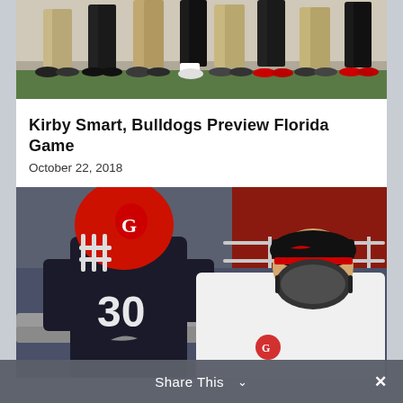[Figure (photo): Partial photo of coaches and staff on sideline, showing legs and feet on a football field]
Kirby Smart, Bulldogs Preview Florida Game
October 22, 2018
[Figure (photo): Georgia Bulldogs football player wearing red helmet with G logo and black jersey number 30, standing next to coach wearing white Georgia polo shirt and black face mask with Nike headband]
Share This ∨   ✕